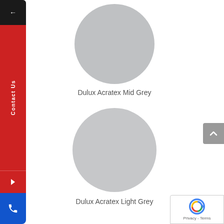[Figure (other): Left sidebar with back arrow (dark/black top), red Contact Us section with vertical text and arrow icon, and blue phone icon button at bottom]
[Figure (illustration): Grey circle color swatch representing Dulux Acratex Mid Grey paint color]
Dulux Acratex Mid Grey
[Figure (illustration): Grey circle color swatch representing Dulux Acratex Light Grey paint color]
Dulux Acratex Light Grey
[Figure (other): Grey scroll-to-top button on right edge]
[Figure (other): Google reCAPTCHA badge with Privacy and Terms links at bottom right]